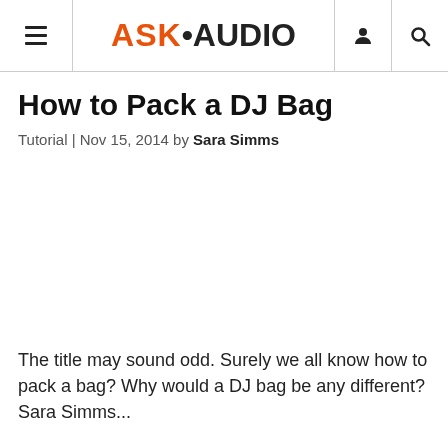ASK•AUDIO
How to Pack a DJ Bag
Tutorial | Nov 15, 2014 by Sara Simms
[Figure (photo): Large image placeholder area (white/blank) associated with the article]
The title may sound odd. Surely we all know how to pack a bag? Why would a DJ bag be any different? Sara Simms...